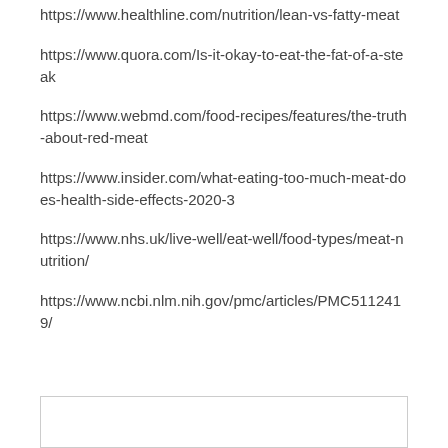https://www.healthline.com/nutrition/lean-vs-fatty-meat
https://www.quora.com/Is-it-okay-to-eat-the-fat-of-a-steak
https://www.webmd.com/food-recipes/features/the-truth-about-red-meat
https://www.insider.com/what-eating-too-much-meat-does-health-side-effects-2020-3
https://www.nhs.uk/live-well/eat-well/food-types/meat-nutrition/
https://www.ncbi.nlm.nih.gov/pmc/articles/PMC5112419/
[Figure (other): Empty box/input area at the bottom of the page]